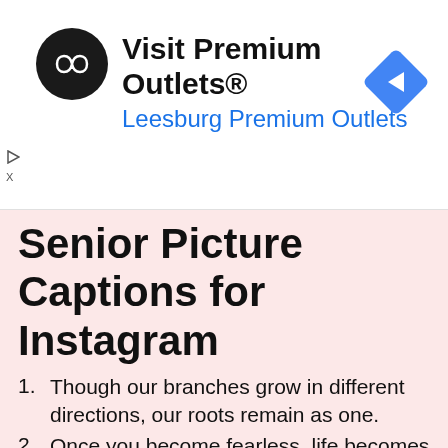[Figure (other): Advertisement banner for Visit Premium Outlets - Leesburg Premium Outlets with logo and navigation arrow icon]
Senior Picture Captions for Instagram
Though our branches grow in different directions, our roots remain as one.
Once you become fearless, life becomes limitless.
What feels like the end is often the beginning.